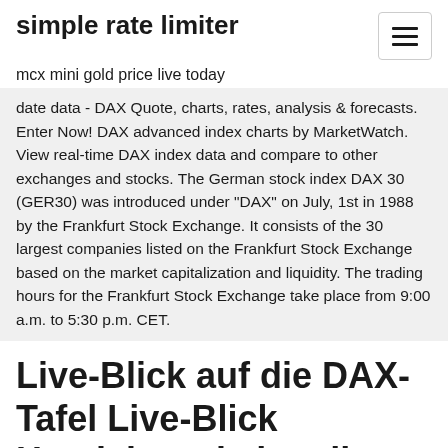simple rate limiter
mcx mini gold price live today
date data - DAX Quote, charts, rates, analysis & forecasts. Enter Now! DAX advanced index charts by MarketWatch. View real-time DAX index data and compare to other exchanges and stocks. The German stock index DAX 30 (GER30) was introduced under "DAX" on July, 1st in 1988 by the Frankfurt Stock Exchange. It consists of the 30 largest companies listed on the Frankfurt Stock Exchange based on the market capitalization and liquidity. The trading hours for the Frankfurt Stock Exchange take place from 9:00 a.m. to 5:30 p.m. CET.
Live-Blick auf die DAX-Tafel Live-Blick Handelssaal aktuelle Nachrichten wie